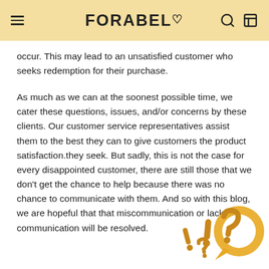FORABELI
occur. This may lead to an unsatisfied customer who seeks redemption for their purchase.
As much as we can at the soonest possible time, we cater these questions, issues, and/or concerns by these clients. Our customer service representatives assist them to the best they can to give customers the product satisfaction.they seek. But sadly, this is not the case for every disappointed customer, there are still those that we don’t get the chance to help because there was no chance to communicate with them. And so with this blog, we are hopeful that that miscommunication or lack of communication will be resolved.
[Figure (illustration): Decorative illustration of exclamation and question marks with a speech bubble chat icon in golden/yellow color at the bottom right corner of the page.]